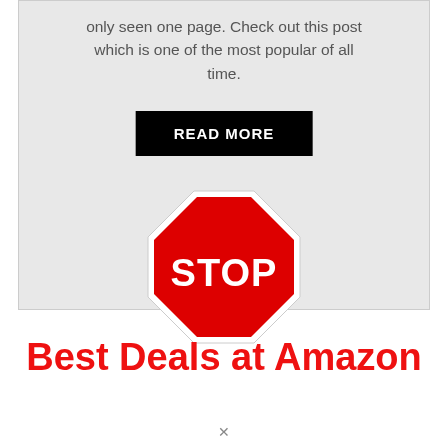only seen one page. Check out this post which is one of the most popular of all time.
[Figure (illustration): Black button with white bold text reading READ MORE]
[Figure (illustration): Red octagonal stop sign with white border and white bold text STOP on red background]
Best Deals at Amazon